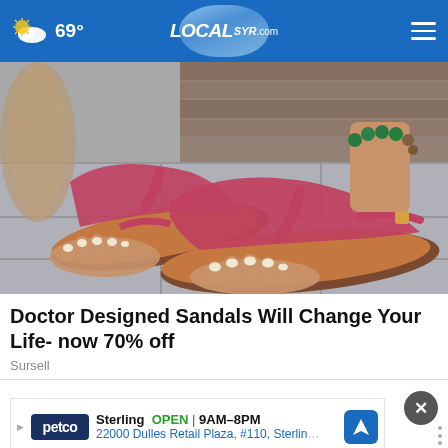69° LOCAL SYR.com
[Figure (photo): Close-up photo of pink doctor-designed sandals (flip-flop style with toe post and back strap with buckle) being worn by a woman with white-painted toenails and a green beaded anklet bracelet. Background shows wood planks and stone floor.]
Doctor Designed Sandals Will Change Your Life- now 70% off
Sursell
[Figure (screenshot): Petco ad banner: 'Sterling OPEN | 9AM-8PM / 22000 Dulles Retail Plaza, #110, Sterling' with Petco logo and navigation arrow icon, and a small close/info button on the right.]
Do you think President Biden should or should not forgive